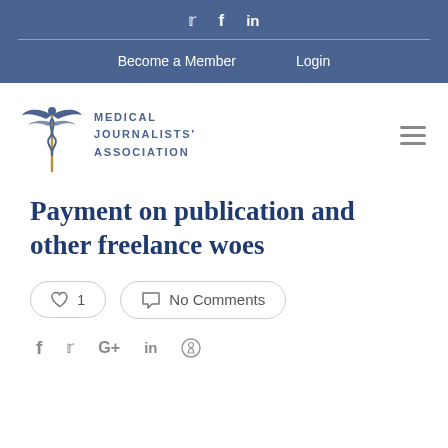𝕏   f   in
Become a Member   Login
[Figure (logo): Medical Journalists' Association logo with caduceus and text]
Payment on publication and other freelance woes
♡ 1   No Comments
f   𝕏   G+   in    Pinterest